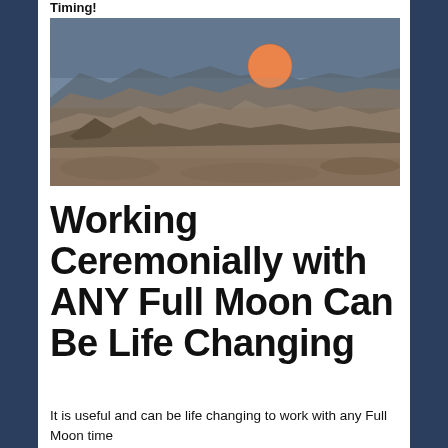Timing!
[Figure (photo): A full orange moon rising over a mountain ridge in a desert landscape at dusk, with brown rocky terrain in the foreground and a grey-blue sky.]
Working Ceremonially with ANY Full Moon Can Be Life Changing
It is useful and can be life changing to work with any Full Moon time